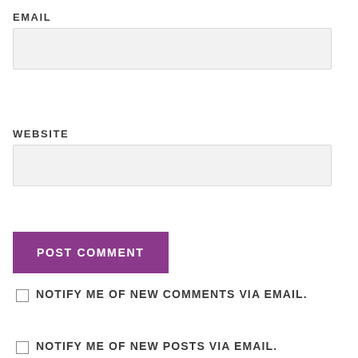EMAIL
[Figure (other): Email input text field (empty, light gray background)]
WEBSITE
[Figure (other): Website input text field (empty, light gray background)]
POST COMMENT
NOTIFY ME OF NEW COMMENTS VIA EMAIL.
NOTIFY ME OF NEW POSTS VIA EMAIL.